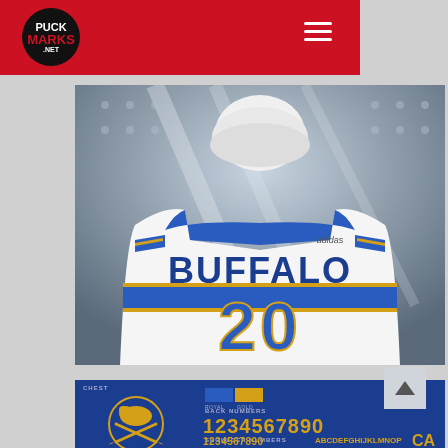PUCK MARKS .NET
[Figure (photo): Back view of a Buffalo Sabres player wearing a white away jersey with BUFFALO text and number 20, blue and gold trim, Adidas logo, white helmet]
[Figure (infographic): Buffalo Sabres jersey specifications panel showing chest logo (Sabres crossed-sticks crest), color swatches (Royal blue and Gold), back numbers (1234567890) in gold, shoulder numbers (1234567890) and letters (ABCDEFGHIJKLMNOP) in gold, and CA label]